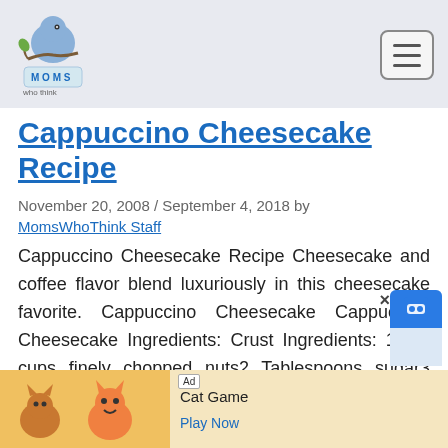MomsWhoThink - navigation header with logo and hamburger menu
Cappuccino Cheesecake Recipe
November 20, 2008 / September 4, 2018 by MomsWhoThink Staff
Cappuccino Cheesecake Recipe Cheesecake and coffee flavor blend luxuriously in this cheesecake favorite. Cappuccino Cheesecake Cappuccino Cheesecake Ingredients: Crust Ingredients: 1 1/2 cups finely chopped nuts2 Tablespoons sugar3 Tablespoons butter, melted Filling Ingredients: 32 oz cream cheese all-p
[Figure (screenshot): Ad banner for Cat Game mobile app with cartoon cat characters and Play Now button]